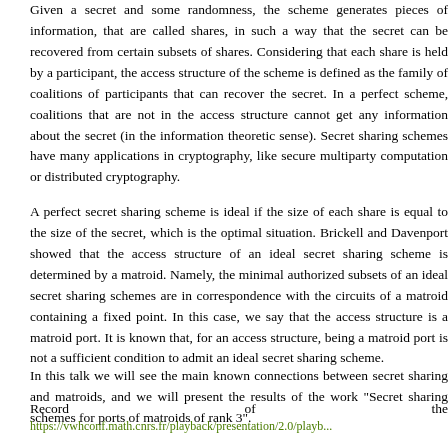Given a secret and some randomness, the scheme generates pieces of information, that are called shares, in such a way that the secret can be recovered from certain subsets of shares. Considering that each share is held by a participant, the access structure of the scheme is defined as the family of coalitions of participants that can recover the secret. In a perfect scheme, coalitions that are not in the access structure cannot get any information about the secret (in the information theoretic sense). Secret sharing schemes have many applications in cryptography, like secure multiparty computation or distributed cryptography.
A perfect secret sharing scheme is ideal if the size of each share is equal to the size of the secret, which is the optimal situation. Brickell and Davenport showed that the access structure of an ideal secret sharing scheme is determined by a matroid. Namely, the minimal authorized subsets of an ideal secret sharing schemes are in correspondence with the circuits of a matroid containing a fixed point. In this case, we say that the access structure is a matroid port. It is known that, for an access structure, being a matroid port is not a sufficient condition to admit an ideal secret sharing scheme.
In this talk we will see the main known connections between secret sharing and matroids, and we will present the results of the work "Secret sharing schemes for ports of matroids of rank 3".
Record                         of                         the
https://vwhconf.math.cnrs.fr/playback/presentation/2.0/playb...